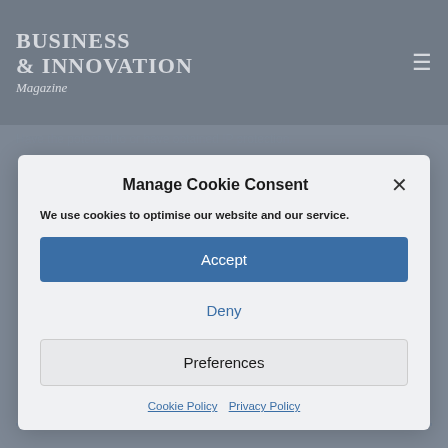BUSINESS & INNOVATION Magazine
Have the potential to or have obtained IP protection.
Prodrive is one of the largest and most full capability motorsport & advanced engineering organisations in the world. Prodrive Ventures is the investment arm of Prodrive, injecting business and technical input to support early stage businesses in delivering innovative and commercially sustainable propositions.
Share This Story
Manage Cookie Consent
We use cookies to optimise our website and our service.
Accept
Deny
Preferences
Cookie Policy  Privacy Policy